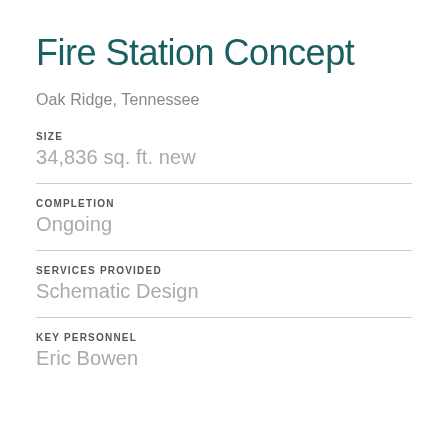Fire Station Concept
Oak Ridge, Tennessee
SIZE
34,836 sq. ft. new
COMPLETION
Ongoing
SERVICES PROVIDED
Schematic Design
KEY PERSONNEL
Eric Bowen